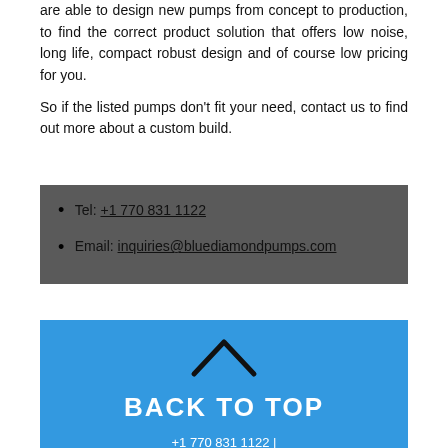are able to design new pumps from concept to production, to find the correct product solution that offers low noise, long life, compact robust design and of course low pricing for you.

So if the listed pumps don't fit your need, contact us to find out more about a custom build.
Tel: +1 770 831 1122
Email: inquiries@bluediamondpumps.com
BACK TO TOP
+1770 831 1122 | info@bluediamondpumps.com
© Blue Diamond® 2021